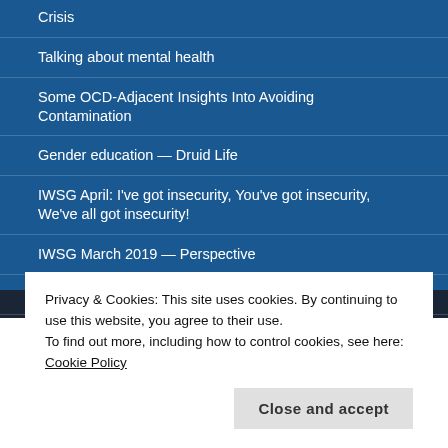Crisis
Talking about mental health
Some OCD-Adjacent Insights Into Avoiding Contamination
Gender education — Druid Life
IWSG April: I've got insecurity, You've got insecurity, We've all got insecurity!
IWSG March 2019 — Perspective
Top Surgery Part II
IWSG February 2019
IWSG February 2019
A Bunch of Months In Review: Fall & Winter 2018
Privacy & Cookies: This site uses cookies. By continuing to use this website, you agree to their use. To find out more, including how to control cookies, see here: Cookie Policy
Close and accept